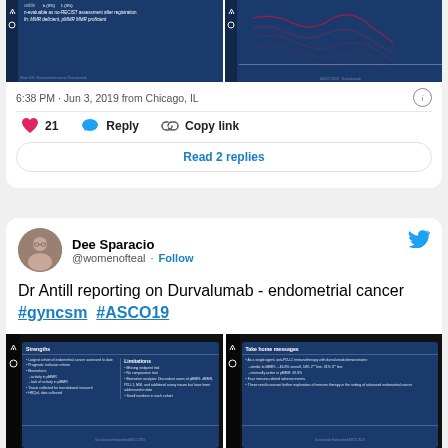[Figure (screenshot): Partial tweet showing two slide images on dark blue background with text about RECIST assessment]
6:38 PM · Jun 3, 2019 from Chicago, IL
21  Reply  Copy link
Read 2 replies
Dee Sparacio @womenofteal · Follow
Dr Antill reporting on Durvalumab - endometrial cancer #gyncsm  #ASCO19
[Figure (screenshot): Two slide images: left shows Strengths and Limitations of study, right shows Take home messages about anti-PD-L1 immunotherapy with durvalumab in endometrial cancer]